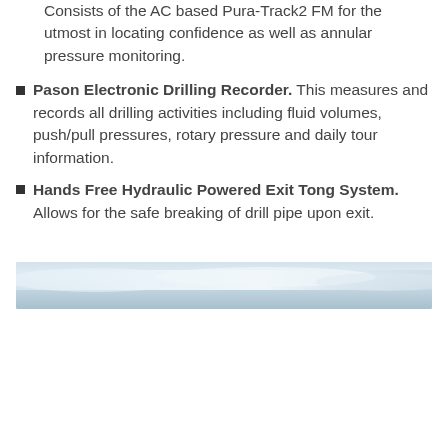Consists of the AC based Pura-Track2 FM for the utmost in locating confidence as well as annular pressure monitoring.
Pason Electronic Drilling Recorder. This measures and records all drilling activities including fluid volumes, push/pull pressures, rotary pressure and daily tour information.
Hands Free Hydraulic Powered Exit Tong System. Allows for the safe breaking of drill pipe upon exit.
[Figure (photo): A horizontal photo strip showing a pale blue-grey sky or hazy landscape scene.]